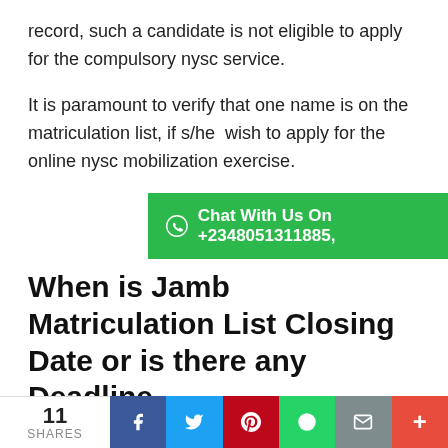record, such a candidate is not eligible to apply for the compulsory nysc service.
It is paramount to verify that one name is on the matriculation list, if s/he  wish to apply for the online nysc mobilization exercise.
[Figure (infographic): Green WhatsApp chat bar: Chat With Us On +2348051311885,]
When is Jamb Matriculation List Closing Date or is there any Deadline
Answer: for the now, it has no closing date, it is a
11 SHARES | Facebook | Twitter | Pinterest | WhatsApp | Email | Plus